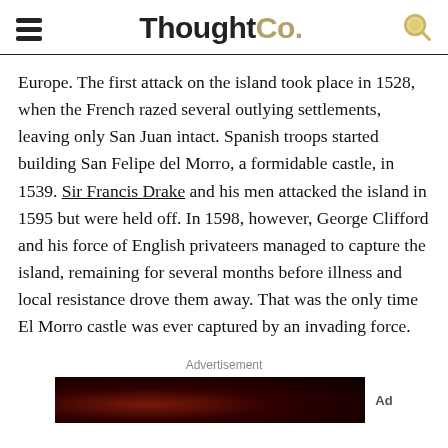ThoughtCo.
Europe. The first attack on the island took place in 1528, when the French razed several outlying settlements, leaving only San Juan intact. Spanish troops started building San Felipe del Morro, a formidable castle, in 1539. Sir Francis Drake and his men attacked the island in 1595 but were held off. In 1598, however, George Clifford and his force of English privateers managed to capture the island, remaining for several months before illness and local resistance drove them away. That was the only time El Morro castle was ever captured by an invading force.
Advertisement